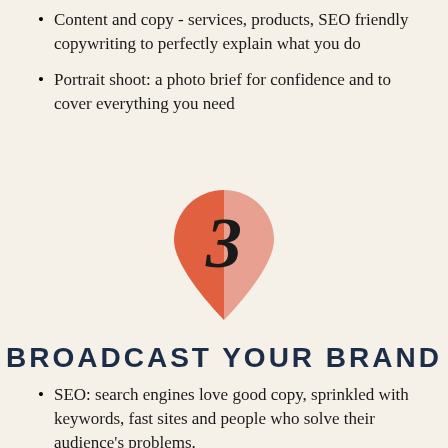Content and copy - services, products, SEO friendly copywriting to perfectly explain what you do
Portrait shoot: a photo brief for confidence and to cover everything you need
[Figure (illustration): A map pin / location marker icon colored in coral/salmon orange with a lighter pink right half, containing a large decorative numeral '3' in black serif font in the center.]
BROADCAST YOUR BRAND
SEO: search engines love good copy, sprinkled with keywords, fast sites and people who solve their audience's problems.
Outreach: content calendars to make socials